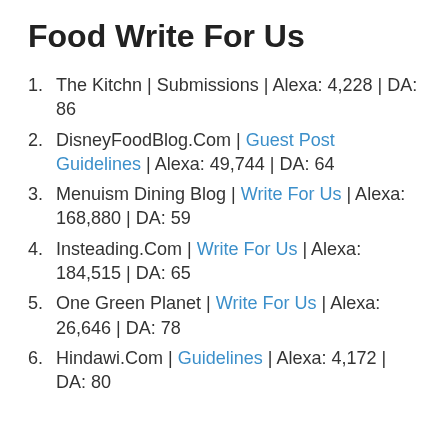Food Write For Us
The Kitchn | Submissions | Alexa: 4,228 | DA: 86
DisneyFoodBlog.Com | Guest Post Guidelines | Alexa: 49,744 | DA: 64
Menuism Dining Blog | Write For Us | Alexa: 168,880 | DA: 59
Insteading.Com | Write For Us | Alexa: 184,515 | DA: 65
One Green Planet | Write For Us | Alexa: 26,646 | DA: 78
Hindawi.Com | Guidelines | Alexa: 4,172 | DA: 80